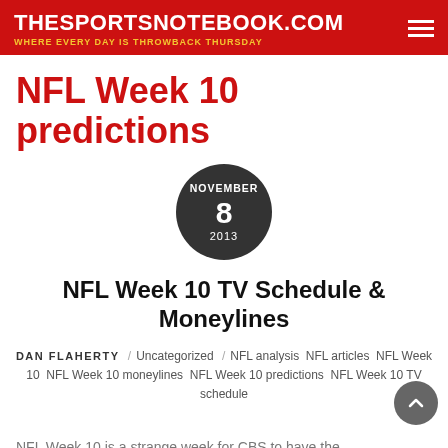THESPORTSNOTEBOOK.COM
WHERE EVERY DAY IS THROWBACK THURSDAY
NFL Week 10 predictions
[Figure (other): Circular dark badge with date: NOVEMBER 8 2013]
NFL Week 10 TV Schedule & Moneylines
DAN FLAHERTY / Uncategorized / NFL analysis  NFL articles  NFL Week 10  NFL Week 10 moneylines  NFL Week 10 predictions  NFL Week 10 TV schedule
NFL Week 10 is a strange week for CBS to have the